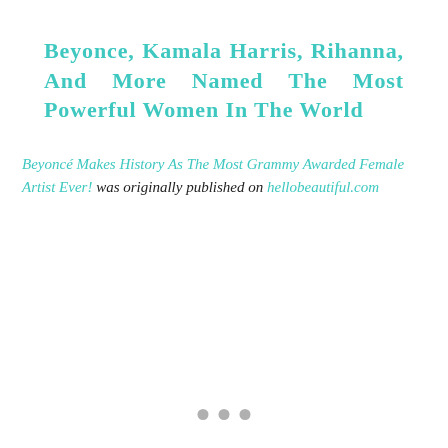Beyonce, Kamala Harris, Rihanna, And More Named The Most Powerful Women In The World
Beyoncé Makes History As The Most Grammy Awarded Female Artist Ever! was originally published on hellobeautiful.com